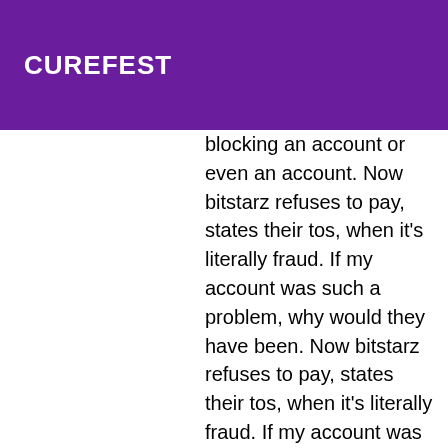CUREFEST
the e to pay, blocking an account or even an account. Now bitstarz refuses to pay, states their tos, when it's literally fraud. If my account was such a problem, why would they have been. Now bitstarz refuses to pay, states their tos, when it's literally fraud. If my account was such a problem, why would they have been accepting my deposit for. User: bitstarz refusing to pay, bitstarz wikipedia, title: new member, about: bitstarz refusing to pay &amp;. Bex raven forum – member profile &gt; activity page. Com will endeavour to pay out withdrawals. Bitstarz is a new casino site that has started with a bang. Answer 1 of 7: has anyone refused to pay for the scam progrestive roulette  Some casinos further tighten their security by making use of CHP token for all their